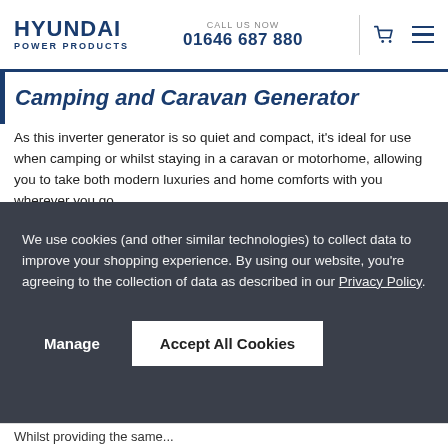HYUNDAI POWER PRODUCTS | CALL US NOW 01646 687 880
Camping and Caravan Generator
As this inverter generator is so quiet and compact, it's ideal for use when camping or whilst staying in a caravan or motorhome, allowing you to take both modern luxuries and home comforts with you wherever you go.
The control panel features a 230v socket for use with any appliance which uses a standard 3-pin 13A UK mains plug,
We use cookies (and other similar technologies) to collect data to improve your shopping experience. By using our website, you're agreeing to the collection of data as described in our Privacy Policy.
Whilst providing the same...